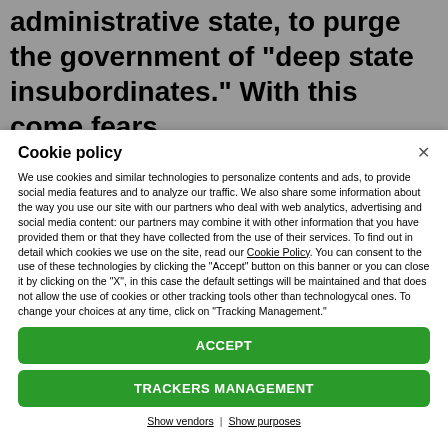administrative state, to purge the government of "deep state insubordinates." With this come fears
Cookie policy
We use cookies and similar technologies to personalize contents and ads, to provide social media features and to analyze our traffic. We also share some information about the way you use our site with our partners who deal with web analytics, advertising and social media content: our partners may combine it with other information that you have provided them or that they have collected from the use of their services. To find out in detail which cookies we use on the site, read our Cookie Policy. You can consent to the use of these technologies by clicking the "Accept" button on this banner or you can close it by clicking on the "X", in this case the default settings will be maintained and that does not allow the use of cookies or other tracking tools other than technologycal ones. To change your choices at any time, click on “Tracking Management.”
ACCEPT
TRACKERS MANAGEMENT
Show vendors | Show purposes